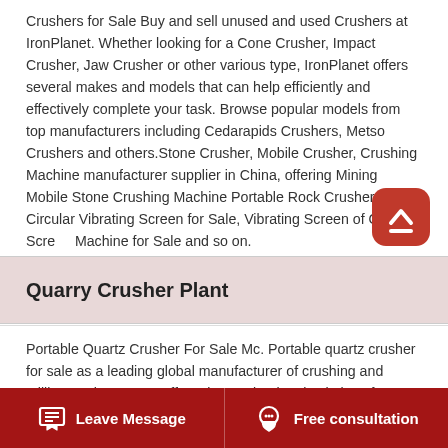Crushers for Sale Buy and sell unused and used Crushers at IronPlanet. Whether looking for a Cone Crusher, Impact Crusher, Jaw Crusher or other various type, IronPlanet offers several makes and models that can help efficiently and effectively complete your task. Browse popular models from top manufacturers including Cedarapids Crushers, Metso Crushers and others.Stone Crusher, Mobile Crusher, Crushing Machine manufacturer supplier in China, offering Mining Mobile Stone Crushing Machine Portable Rock Crusher, Ske Circular Vibrating Screen for Sale, Vibrating Screen of Quarry Screen Machine for Sale and so on.
Quarry Crusher Plant
Portable Quartz Crusher For Sale Mc. Portable quartz crusher for sale as a leading global manufacturer of crushing and milling equipment we offer advanced rational solutions for any